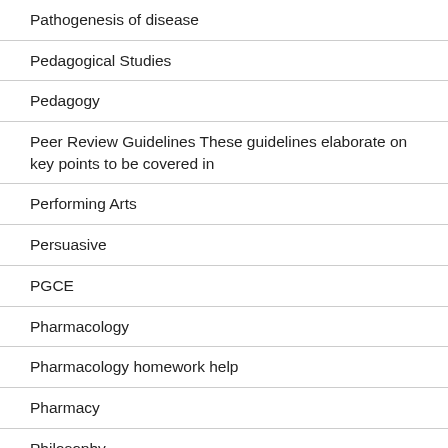Pathogenesis of disease
Pedagogical Studies
Pedagogy
Peer Review Guidelines These guidelines elaborate on key points to be covered in
Performing Arts
Persuasive
PGCE
Pharmacology
Pharmacology homework help
Pharmacy
Philosophy